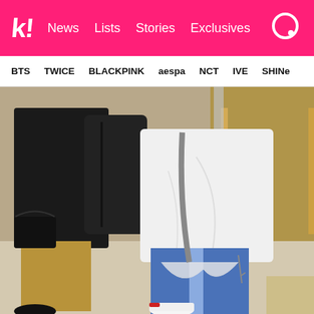Koreaboo — News | Lists | Stories | Exclusives
BTS  TWICE  BLACKPINK  aespa  NCT  IVE  SHINee
[Figure (photo): Two people at an airport. Left person wears a black jacket and khaki pants with a black backpack and small black bag at waist. Right person wears a white oversized shirt and blue jeans/trackpants with a light blue stripe, wearing white sneakers.]